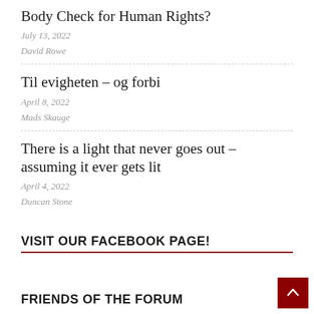Body Check for Human Rights?
July 13, 2022
David Rowe
Til evigheten – og forbi
April 8, 2022
Mads Skauge
There is a light that never goes out – assuming it ever gets lit
April 4, 2022
Duncan Stone
VISIT OUR FACEBOOK PAGE!
FRIENDS OF THE FORUM